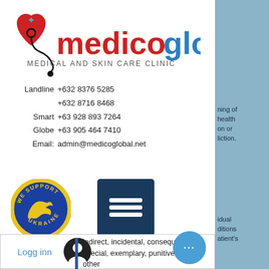[Figure (logo): Medicoglobal Medical and Skin Care Clinic logo with red heart and stethoscope]
Landline +632 8376 5285
+632 8716 8468
Smart +63 928 893 7264
Globe +63 905 464 7410
Email: admin@medicoglobal.net
[Figure (illustration): We Support Ukraine circular badge in blue and yellow]
[Figure (illustration): Dark blue square hamburger/menu button icon]
BECOME A MEMBER
JOIN TODAY
Logg inn
indirect, incidental, consequential, special, exemplary, punitive, or any other